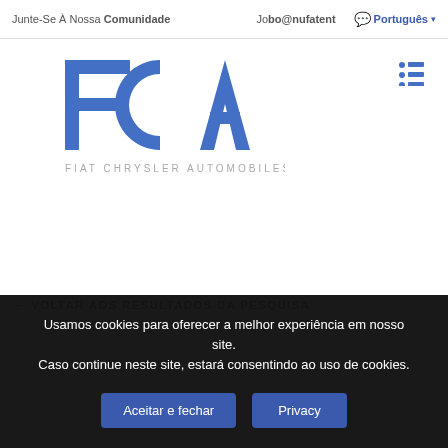Junte-Se À Nossa Comunidade   Jobo@nufatent   Português
[Figure (logo): FCA - Fiat Chrysler Automobiles logo in blue with large stylized FCA letters and subtitle FIAT CHRYSLER AUTOMOBILES]
← VOLTAR AOS RESULTADOS DA PESQUISA
Usamos cookies para oferecer a melhor experiência em nosso site.
Caso continue neste site, estará consentindo ao uso de cookies.
Aceitar e fechar   Privacy